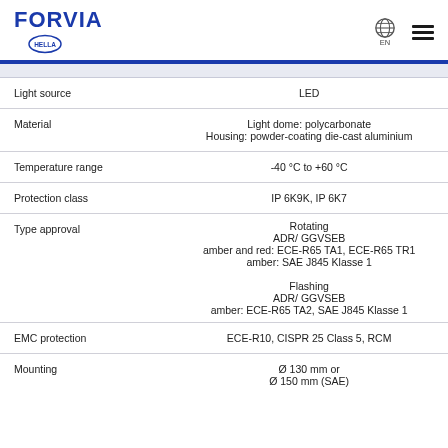FORVIA HELLA - EN
| Property | Value |
| --- | --- |
| Light source | LED |
| Material | Light dome: polycarbonate
Housing: powder-coating die-cast aluminium |
| Temperature range | -40 °C to +60 °C |
| Protection class | IP 6K9K, IP 6K7 |
| Type approval | Rotating
ADR/ GGVSEB
amber and red: ECE-R65 TA1, ECE-R65 TR1
amber: SAE J845 Klasse 1

Flashing
ADR/ GGVSEB
amber: ECE-R65 TA2, SAE J845 Klasse 1 |
| EMC protection | ECE-R10, CISPR 25 Class 5, RCM |
| Mounting | Ø 130 mm or
Ø 150 mm (SAE) |